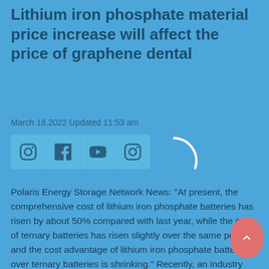Lithium iron phosphate material price increase will affect the price of graphene dental
March 18,2022 Updated 11:53 am
[Figure (other): Social media icon buttons: Instagram, Facebook, YouTube, Instagram, and a loading arc spinner]
Polaris Energy Storage Network News: "At present, the comprehensive cost of lithium iron phosphate batteries has risen by about 50% compared with last year, while the cost of ternary batteries has risen slightly over the same period, and the cost advantage of lithium iron phosphate batteries over ternary batteries is shrinking." Recently, an industry